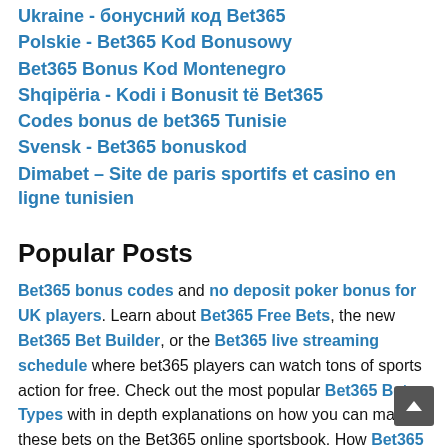Ukraine - бонусний код Bet365
Polskie - Bet365 Kod Bonusowy
Bet365 Bonus Kod Montenegro
Shqipëria - Kodi i Bonusit të Bet365
Codes bonus de bet365 Tunisie
Svensk - Bet365 bonuskod
Dimabet – Site de paris sportifs et casino en ligne tunisien
Popular Posts
Bet365 bonus codes and no deposit poker bonus for UK players. Learn about Bet365 Free Bets, the new Bet365 Bet Builder, or the Bet365 live streaming schedule where bet365 players can watch tons of sports action for free. Check out the most popular Bet365 Bet Types with in depth explanations on how you can make these bets on the Bet365 online sportsbook. How Bet365 compares